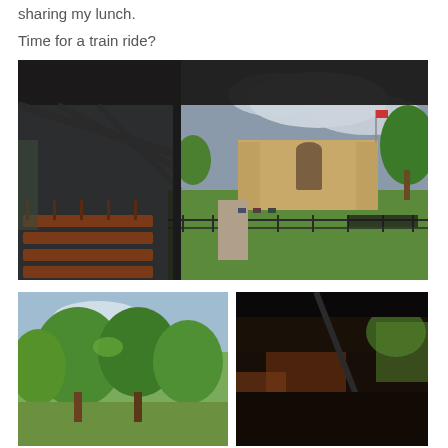sharing my lunch.
Time for a train ride?
[Figure (photo): Interior view of an open-sided tourist train/tram with wooden bench seats, black metal roof structure, looking toward an archway gate and stone building beyond a green lawn with trees and a cloudy sky.]
[Figure (photo): View of green trees and sky, likely taken from inside a moving train.]
[Figure (photo): Close-up view from inside a train, dark tones, partial view of surroundings.]